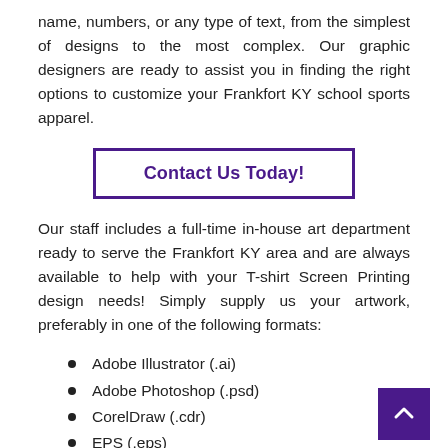name, numbers, or any type of text, from the simplest of designs to the most complex. Our graphic designers are ready to assist you in finding the right options to customize your Frankfort KY school sports apparel.
Contact Us Today!
Our staff includes a full-time in-house art department ready to serve the Frankfort KY area and are always available to help with your T-shirt Screen Printing design needs! Simply supply us your artwork, preferably in one of the following formats:
Adobe Illustrator (.ai)
Adobe Photoshop (.psd)
CorelDraw (.cdr)
EPS (.eps)